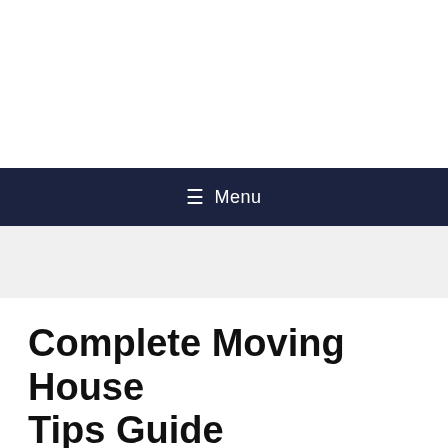☰ Menu
Complete Moving House Tips Guide
Written by admin/ Published on June 2, 2021